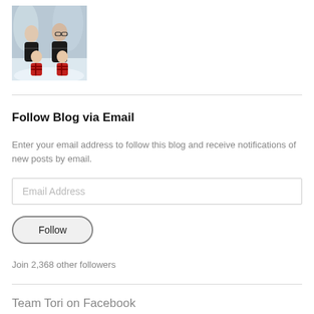[Figure (photo): Family photo: two adults and two young children wearing matching red plaid pajamas, sitting in front of a snowy tree backdrop.]
Follow Blog via Email
Enter your email address to follow this blog and receive notifications of new posts by email.
Email Address
Follow
Join 2,368 other followers
Team Tori on Facebook